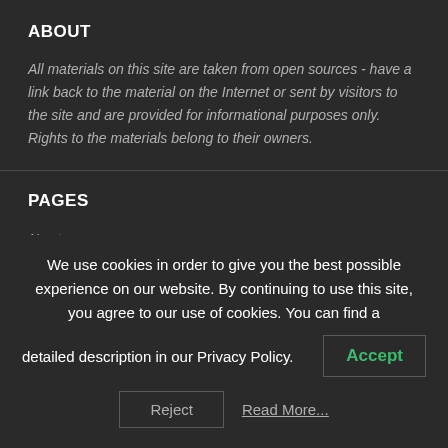ABOUT
All materials on this site are taken from open sources - have a link back to the material on the Internet or sent by visitors to the site and are provided for informational purposes only. Rights to the materials belong to their owners.
PAGES
About
We use cookies in order to give you the best possible experience on our website. By continuing to use this site, you agree to our use of cookies. You can find a detailed description in our Privacy Policy.
Accept
Reject
Read More...